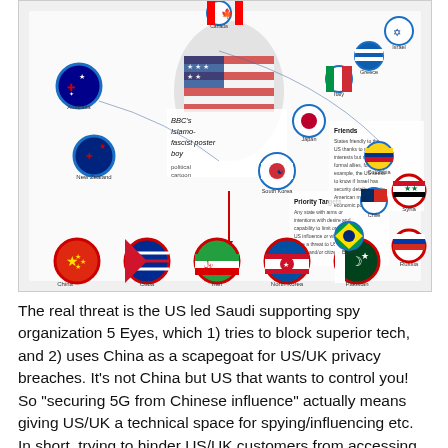[Figure (infographic): Infographic showing US-centered map with country flags arranged in arcs, labeled with 'Priority Targets', 'Friends', and annotations. Includes a BBC headline overlay about 'Islamo-fascist poster boy'. Countries shown include China, Cuba, Iran, North Korea, Pakistan, Russia, Syria, Australia, New Zealand, South Korea, Japan, Israel, Greece, Italy, Germany, Colombia, Chile, Brazil and others arranged in circles with red or blue borders.]
The real threat is the US led Saudi supporting spy organization 5 Eyes, which 1) tries to block superior tech, and 2) uses China as a scapegoat for US/UK privacy breaches. It's not China but US that wants to control you! So "securing 5G from Chinese influence" actually means giving US/UK a technical space for spying/influencing etc.  In short, trying to hinder US/UK customers from accessing the best technology while spying on them.